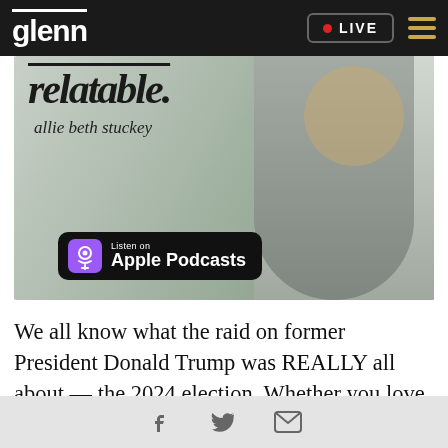glenn | LIVE
[Figure (photo): Promotional image for 'Relatable' podcast by Allie Beth Stuckey, showing text 'relatable. allie beth stuckey' and an Apple Podcasts badge, with a blonde woman in a black outfit in the background.]
We all know what the raid on former President Donald Trump was REALLY all about — the 2024 election. Whether you love Trump or hate him, this unprecedented act is a LOT bigger than just one
[social share icons: Facebook, Twitter, Email]